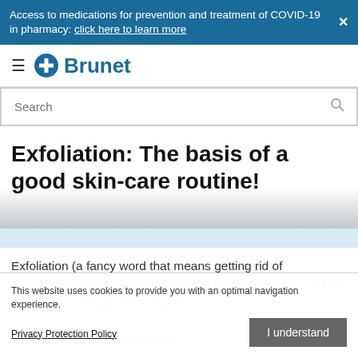Access to medications for prevention and treatment of COVID-19 in pharmacy: click here to learn more
[Figure (logo): Brunet pharmacy logo with hamburger menu icon and cross/plus symbol in blue]
Search
Exfoliation: The basis of a good skin-care routine!
Exfoliation (a fancy word that means getting rid of dead skin cells) will help your skin achieve a beautiful natural glow. That's because a scrub helps... all your expensive car...
This website uses cookies to provide you with an optimal navigation experience.
Privacy Protection Policy
I understand